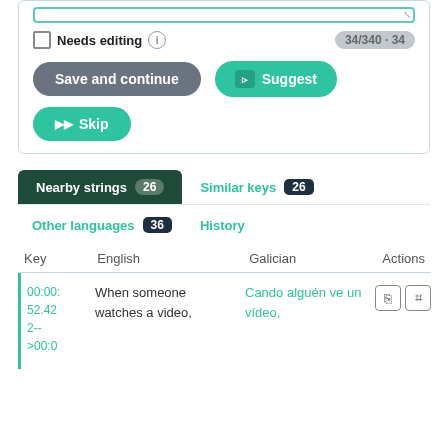[Figure (screenshot): UI panel with textarea (top border shown), Needs editing checkbox with info icon and 34/340 - 34 counter badge, Save and continue button (gray), Suggest button (green), Skip button (green)]
Needs editing
34/340 · 34
Save and continue
Suggest
Skip
Nearby strings 26
Similar keys 26
Other languages 36
History
| Key | English | Galician | Actions |
| --- | --- | --- | --- |
| 00:00:
52.42
2--
>00:0 | When someone watches a video, | Cando alguén ve un vídeo, | icons |